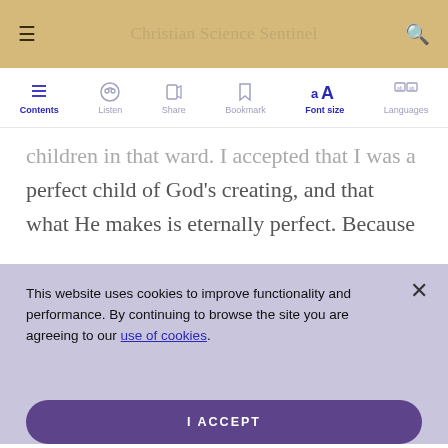Christian Science Sentinel
[Figure (screenshot): Navigation toolbar with icons for Contents, Listen, Share, Bookmark, Font size (active), and Languages]
children in that ward. I accepted that I was a perfect child of God's creating, and that what He makes is eternally perfect. Because
This website uses cookies to improve functionality and performance. By continuing to browse the site you are agreeing to our use of cookies.
I ACCEPT